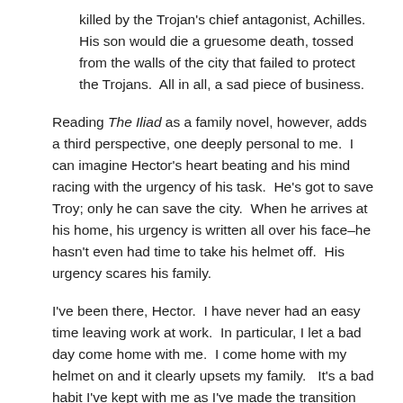killed by the Trojan's chief antagonist, Achilles.  His son would die a gruesome death, tossed from the walls of the city that failed to protect the Trojans.  All in all, a sad piece of business.
Reading The Iliad as a family novel, however, adds a third perspective, one deeply personal to me.  I can imagine Hector's heart beating and his mind racing with the urgency of his task.  He's got to save Troy; only he can save the city.  When he arrives at his home, his urgency is written all over his face–he hasn't even had time to take his helmet off.  His urgency scares his family.
I've been there, Hector.  I have never had an easy time leaving work at work.  In particular, I let a bad day come home with me.  I come home with my helmet on and it clearly upsets my family.   It's a bad habit I've kept with me as I've made the transition from advertising to teaching.